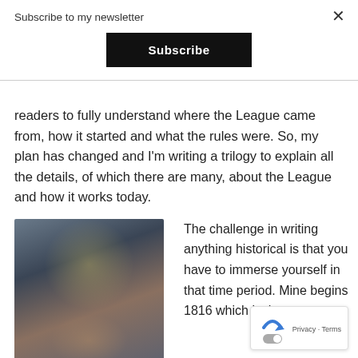Subscribe to my newsletter
Subscribe
readers to fully understand where the League came from, how it started and what the rules were. So, my plan has changed and I'm writing a trilogy to explain all the details, of which there are many, about the League and how it works today.
[Figure (illustration): Fantasy/superhero illustration showing a large muscular male figure holding a female figure, with a large moon and castle towers in the background under a stormy sky with lightning.]
The challenge in writing anything historical is that you have to immerse yourself in that time period. Mine begins 1816 which is the